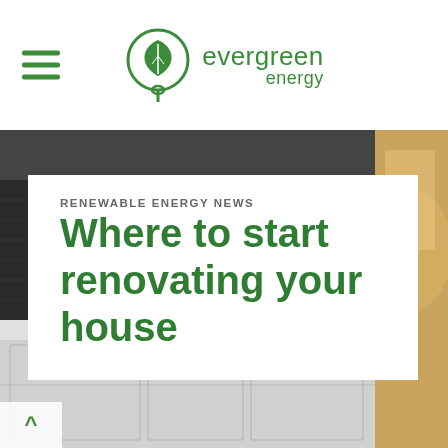evergreen energy
RENEWABLE ENERGY NEWS
Where to start renovating your house
[Figure (photo): Kitchen interior with dark tile backsplash, modern faucet, coffee maker, and bowls on counter — dark moody tones]